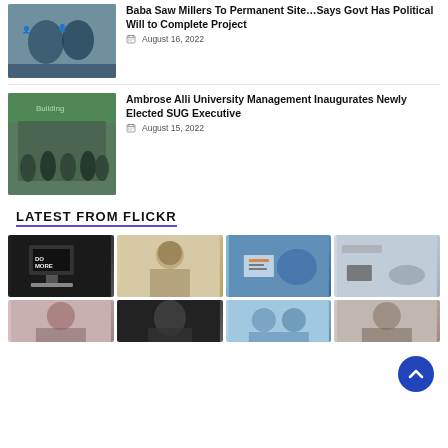[Figure (photo): Two people talking, one pointing, outdoor/event setting]
Baba Saw Millers To Permanent Site…Says Govt Has Political Will to Complete Project
August 16, 2022
[Figure (photo): Group of people standing in front of a building]
Ambrose Alli University Management Inaugurates Newly Elected SUG Executive
August 15, 2022
LATEST FROM FLICKR
[Figure (photo): Computer monitor on desk with 'DO MORE' text]
[Figure (photo): Person in office/business setting, backlit]
[Figure (photo): People reviewing charts/documents together]
[Figure (photo): Calculator and glasses on desk]
[Figure (photo): Business woman smiling]
[Figure (photo): Person in dark clothing]
[Figure (photo): Hands using tablet/device]
[Figure (photo): Woman portrait]